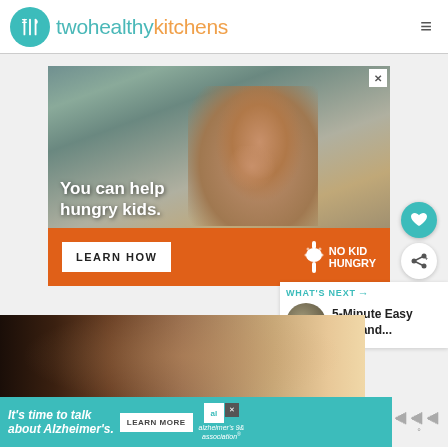twohealthykitchens
[Figure (photo): No Kid Hungry advertisement showing a young boy eating strawberries with text 'You can help hungry kids.' and a 'LEARN HOW' button on orange background with No Kid Hungry logo]
[Figure (photo): Close-up photo of food on a table, blurred background]
WHAT'S NEXT → 5-Minute Easy Rice and...
[Figure (photo): Alzheimer's association advertisement: 'It's time to talk about Alzheimer's.' with LEARN MORE button and Alzheimer's Association logo on teal background]